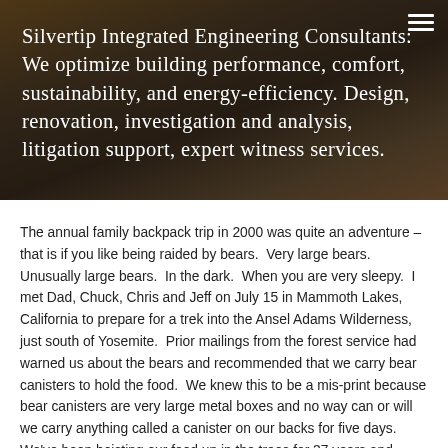Silvertip Integrated Engineering Consultants: We optimize building performance, comfort, sustainability, and energy-efficiency. Design, renovation, investigation and analysis, litigation support, expert witness services.
The annual family backpack trip in 2000 was quite an adventure – that is if you like being raided by bears.  Very large bears.  Unusually large bears.  In the dark.  When you are very sleepy.  I met Dad, Chuck, Chris and Jeff on July 15 in Mammoth Lakes, California to prepare for a trek into the Ansel Adams Wilderness, just south of Yosemite.  Prior mailings from the forest service had warned us about the bears and recommended that we carry bear canisters to hold the food.  We knew this to be a mis-print because bear canisters are very large metal boxes and no way can or will we carry anything called a canister on our backs for five days.  We've been hoisting our food up in the trees for 37 years and doing just fine, thank-you.  Bear canisters – my foot.  Recently has been a hitch, we didn't allow enough time to adequately sort through and measure our food.  I brought lunches and dinners and